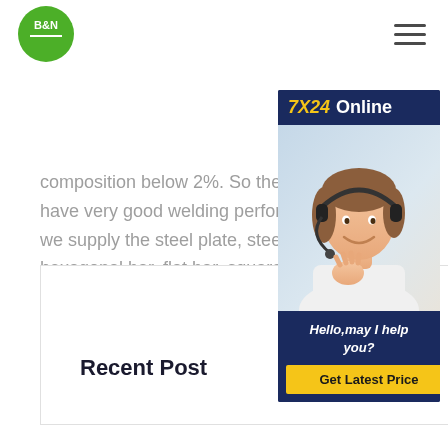B&N logo and navigation hamburger menu
composition below 2%. So the S235JH have very good welding performance. we supply the steel plate, steel round b hexagonal bar, flat bar, square bar and
Recent Post
[Figure (illustration): Chat widget overlay with '7X24 Online' header in navy blue, photo of woman with headset smiling, text 'Hello,may I help you?' and a yellow 'Get Latest Price' button]